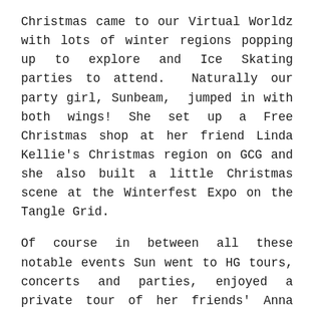Christmas came to our Virtual Worldz with lots of winter regions popping up to explore and Ice Skating parties to attend.  Naturally our party girl, Sunbeam,  jumped in with both wings! She set up a Free Christmas shop at her friend Linda Kellie's Christmas region on GCG and she also built a little Christmas scene at the Winterfest Expo on the Tangle Grid.
Of course in between all these notable events Sun went to HG tours, concerts and parties, enjoyed a private tour of her friends' Anna and Steve Ford's 'Pet Gallery', plus her friend Jessie Campbell taught her how to play the game 'Greedy'.  May of been beginners luck but Sun won both games they played! Sun also did some fun exploring and went shopping and bought some new gowns.
Sun also set up two new shops in AAcme City, one a